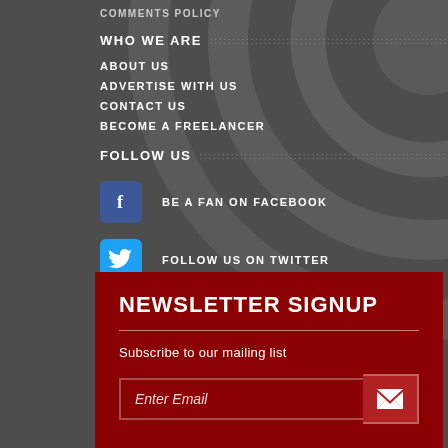COMMENTS POLICY
WHO WE ARE
ABOUT US
ADVERTISE WITH US
CONTACT US
BECOME A FREELANCER
FOLLOW US
BE A FAN ON FACEBOOK
FOLLOW US ON TWITTER
FOLLOW US ON INSTAGRAM
NEWSLETTER SIGNUP
Subscribe to our mailing list
Enter Email